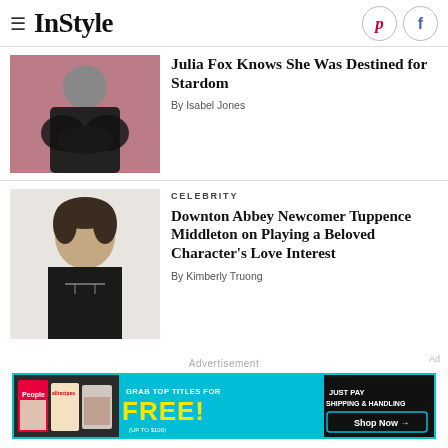InStyle
[Figure (photo): Woman in black feathered outfit against pink/mauve background]
Julia Fox Knows She Was Destined for Stardom
By Isabel Jones
CELEBRITY
[Figure (photo): Woman with short dark hair in black top with chain necklace, against white background]
Downton Abbey Newcomer Tuppence Middleton on Playing a Beloved Character's Love Interest
By Kimberly Truong
Advertisement
[Figure (other): Advertisement banner: People/allrecipes magazines - Grab top titles for FREE (up to $100) Just pay shipping & handling. Shop Now arrow button on teal background.]